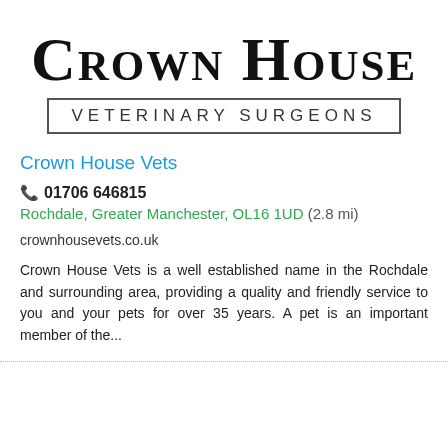[Figure (logo): Crown House Veterinary Surgeons logo — large serif small-caps 'Crown House' text above a bordered rectangle containing 'VETERINARY SURGEONS' in spaced sans-serif capitals]
Crown House Vets
📞 01706 646815
Rochdale, Greater Manchester, OL16 1UD (2.8 mi)
crownhousevets.co.uk
Crown House Vets is a well established name in the Rochdale and surrounding area, providing a quality and friendly service to you and your pets for over 35 years. A pet is an important member of the...